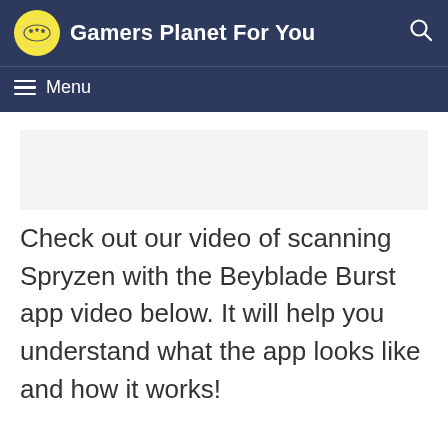Gamers Planet For You
Check out our video of scanning Spryzen with the Beyblade Burst app video below. It will help you understand what the app looks like and how it works!